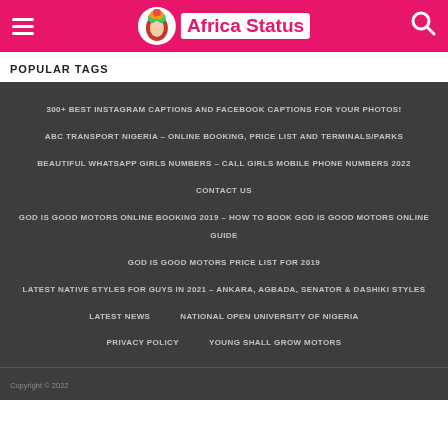Africa Status
POPULAR TAGS
300+ BEST INSTAGRAM CAPTIONS AND FACEBOOK CAPTIONS FOR YOUR PHOTOS!
ABC TRANSPORT NIGERIA – ONLINE BOOKING, PRICE LIST AND TERMINALS/PARKS
BEAUTIFUL WHATSAPP GIRLS NUMBERS – CALL GIRLS MOBILE PHONE NUMBERS 2022
CONTACT US
GOD IS GOOD MOTORS ONLINE BOOKING 2019 – HOW TO BOOK GOD IS GOOD MOTORS ONLINE GUIDE
GOD IS GOOD MOTORS PRICE LIST FOR 2019
LATEST NATIVE STYLES FOR GUYS IN 2021 – ANKARA, AGBADA, SENATOR & DASHIKI STYLES
LATEST NEWS
NATIONAL OPEN UNIVERSITY OF NIGERIA
PRIVACY POLICY
YOUNG SHALL GROW MOTORS
Copyright © 2022